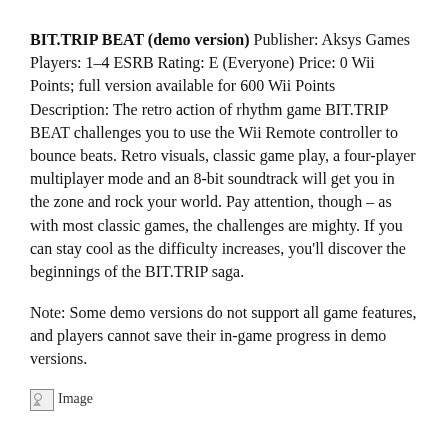BIT.TRIP BEAT (demo version) Publisher: Aksys Games Players: 1–4 ESRB Rating: E (Everyone) Price: 0 Wii Points; full version available for 600 Wii Points Description: The retro action of rhythm game BIT.TRIP BEAT challenges you to use the Wii Remote controller to bounce beats. Retro visuals, classic game play, a four-player multiplayer mode and an 8-bit soundtrack will get you in the zone and rock your world. Pay attention, though – as with most classic games, the challenges are mighty. If you can stay cool as the difficulty increases, you'll discover the beginnings of the BIT.TRIP saga.
Note: Some demo versions do not support all game features, and players cannot save their in-game progress in demo versions.
[Figure (photo): Small image placeholder icon]